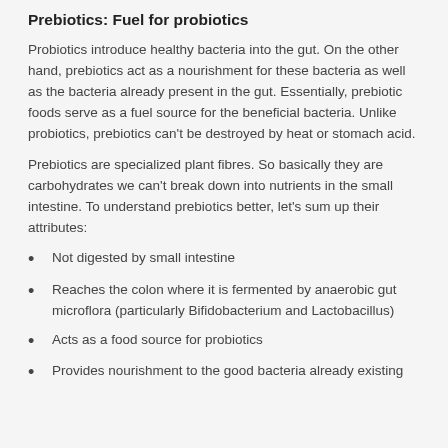Prebiotics: Fuel for probiotics
Probiotics introduce healthy bacteria into the gut. On the other hand, prebiotics act as a nourishment for these bacteria as well as the bacteria already present in the gut. Essentially, prebiotic foods serve as a fuel source for the beneficial bacteria. Unlike probiotics, prebiotics can't be destroyed by heat or stomach acid.
Prebiotics are specialized plant fibres. So basically they are carbohydrates we can't break down into nutrients in the small intestine. To understand prebiotics better, let's sum up their attributes:
Not digested by small intestine
Reaches the colon where it is fermented by anaerobic gut microflora (particularly Bifidobacterium and Lactobacillus)
Acts as a food source for probiotics
Provides nourishment to the good bacteria already existing